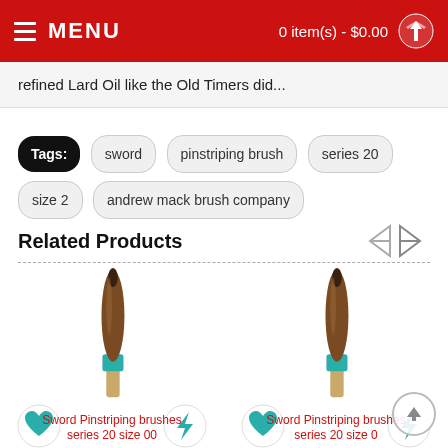MENU | 0 item(s) - $0.00
refined Lard Oil like the Old Timers did...
Tags: sword   pinstriping brush   series 20   size 2   andrew mack brush company
Related Products
[Figure (photo): Two pinstriping brushes (sword style) side by side with teal/turquoise ferrules and wooden handles. Below each brush are two circular icon buttons (heart/wishlist and lightning/add to cart icons).]
Sword Pinstriping brushes series 20 size 00
Sword Pinstriping brushes series 20 size 0